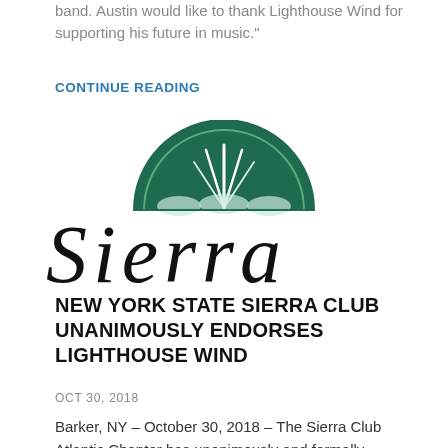band. Austin would like to thank Lighthouse Wind for supporting his future in music."
CONTINUE READING
[Figure (logo): Sierra Club logo — partial half-circle with green tree/waterfall emblem above 'SIERRA' text in large serif font]
NEW YORK STATE SIERRA CLUB UNANIMOUSLY ENDORSES LIGHTHOUSE WIND
OCT 30, 2018
Barker, NY – October 30, 2018 – The Sierra Club Atlantic Chapter has unanimously and formally endorsed the